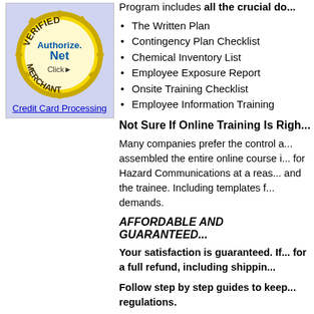[Figure (logo): Authorize.Net Verified Merchant seal/badge with gold border and 'Credit Card Processing' link below, on a light blue-purple background box]
Program includes all the crucial do...
The Written Plan
Contingency Plan Checklist
Chemical Inventory List
Employee Exposure Report
Onsite Training Checklist
Employee Information Training
Not Sure If Online Training Is Righ...
Many companies prefer the control a... assembled the entire online course i... for Hazard Communications at a reas... and the trainee. Including templates... demands.
AFFORDABLE AND GUARANTEED...
Your satisfaction is guaranteed. If... for a full refund, including shippin...
Follow step by step guides to keep... regulations.